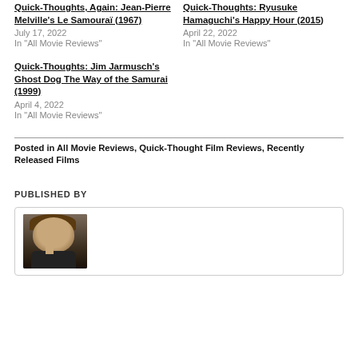Quick-Thoughts, Again: Jean-Pierre Melville's Le Samouraï (1967)
July 17, 2022
In "All Movie Reviews"
Quick-Thoughts: Ryusuke Hamaguchi's Happy Hour (2015)
April 22, 2022
In "All Movie Reviews"
Quick-Thoughts: Jim Jarmusch's Ghost Dog The Way of the Samurai (1999)
April 4, 2022
In "All Movie Reviews"
Posted in All Movie Reviews, Quick-Thought Film Reviews, Recently Released Films
PUBLISHED BY
[Figure (photo): Author profile photo showing a person with brown hair raising a finger, dark background]